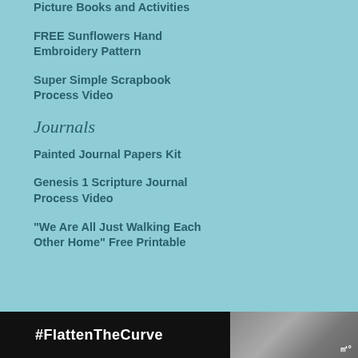Picture Books and Activities
FREE Sunflowers Hand Embroidery Pattern
Super Simple Scrapbook Process Video
Journals
Painted Journal Papers Kit
Genesis 1 Scripture Journal Process Video
“We Are All Just Walking Each Other Home” Free Printable
[Figure (screenshot): Black footer bar with #FlattenTheCurve hashtag text in white on black background, with a photo of hands washing with soap on the right side and a close button (X) visible. A thermometer icon with degree symbol appears on the far right.]